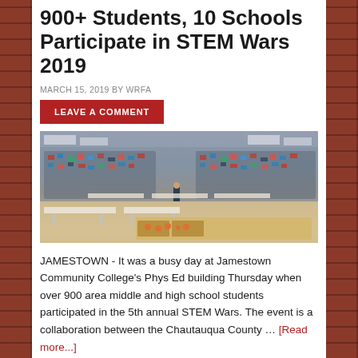900+ Students, 10 Schools Participate in STEM Wars 2019
MARCH 15, 2019 BY WRFA
LEAVE A COMMENT
[Figure (photo): Large gymnasium/sports hall filled with hundreds of students in bleachers watching an event, with tables and STEM competition equipment in the foreground]
JAMESTOWN - It was a busy day at Jamestown Community College's Phys Ed building Thursday when over 900 area middle and high school students participated in the 5th annual STEM Wars. The event is a collaboration between the Chautauqua County … [Read more...]